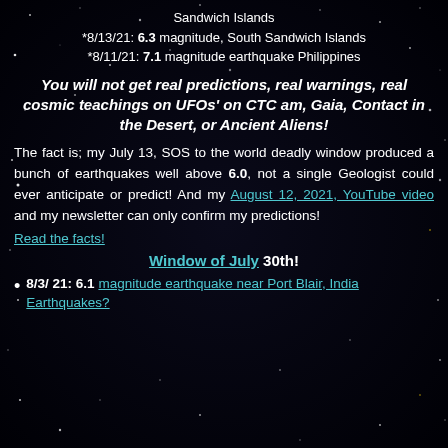Sandwich Islands
*8/13/21: 6.3 magnitude, South Sandwich Islands
*8/11/21: 7.1 magnitude earthquake Philippines
You will not get real predictions, real warnings, real cosmic teachings on UFOs' on CTC am, Gaia, Contact in the Desert, or Ancient Aliens!
The fact is; my July 13, SOS to the world deadly window produced a bunch of earthquakes well above 6.0, not a single Geologist could ever anticipate or predict! And my August 12, 2021, YouTube video and my newsletter can only confirm my predictions! Read the facts!
Window of July 30th!
8/3/ 21: 6.1 magnitude earthquake near Port Blair, India Earthquakes?